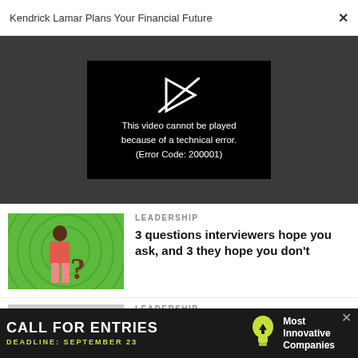Kendrick Lamar Plans Your Financial Future
[Figure (screenshot): Video player showing error: This video cannot be played because of a technical error. (Error Code: 200001)]
[Figure (photo): Thumbnail image of a person holding a question mark, on a green background, for article about interview questions]
LEADERSHIP
3 questions interviewers hope you ask, and 3 they hope you don't
LEADERSHIP
[Figure (infographic): Advertisement: CALL FOR ENTRIES, DEADLINE: SEPTEMBER 23, Most Innovative Companies]